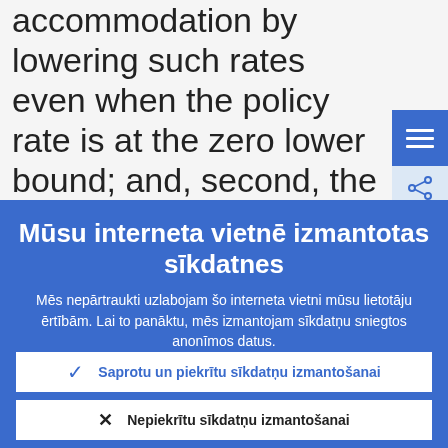accommodation by lowering such rates even when the policy rate is at the zero lower bound; and, second, the lower boun
Mūsu interneta vietnē izmantotas sīkdatnes
Mēs nepārtraukti uzlabojam šo interneta vietni mūsu lietotāju ērtībām. Lai to panāktu, mēs izmantojam sīkdatņu sniegtos anonīmos datus.
Sīkāka informācija par sīkdatņu izmantošanu
Saprotu un piekrītu sīkdatņu izmantošanai
Nepiekrītu sīkdatņu izmantošanai